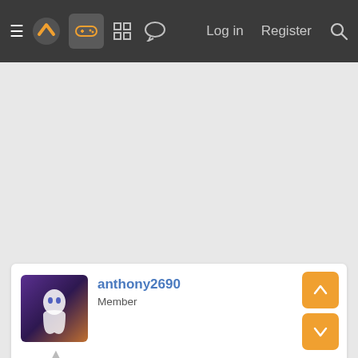≡  [logo]  [gamepad icon]  [grid icon]  [chat icon]  Log in  Register  [search]
[Figure (screenshot): Gray empty content area (advertisement/placeholder space)]
anthony2690
Member
Dec 9, 2021
#10
it also does this doesnt it ... some text continuation that is cut off